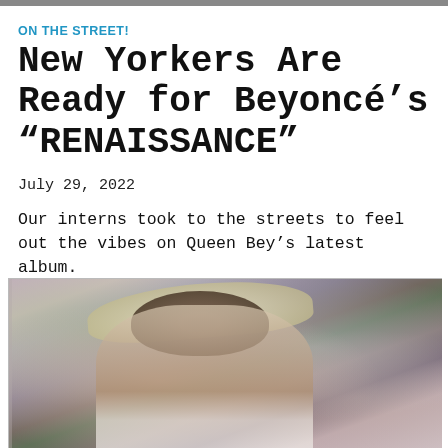ON THE STREET!
New Yorkers Are Ready for Beyoncé's “RENAISSANCE”
July 29, 2022
Our interns took to the streets to feel out the vibes on Queen Bey’s latest album.
[Figure (photo): A person with long blonde hair wearing a patterned outfit, photographed outdoors in a vintage polaroid style with muted pinkish tones, greenery and structures in background.]